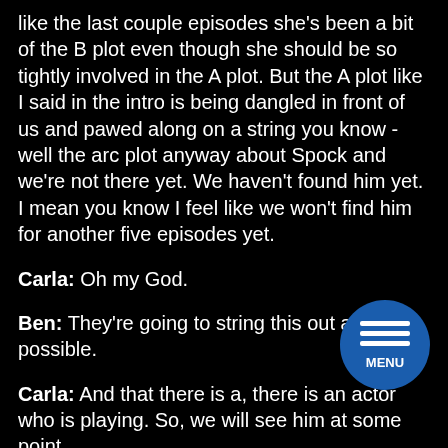like the last couple episodes she’s been a bit of the B plot even though she should be so tightly involved in the A plot. But the A plot like I said in the intro is being dangled in front of us and pawed along on a string you know -well the arc plot anyway about Spock and we’re not there yet. We haven’t found him yet. I mean you know I feel like we won’t find him for another five episodes yet.
Carla: Oh my God.
Ben: They’re going to string this out as far as possible.
Carla: And that there is a, there is an actor who is playing. So, we will see him at some point.
Ben: We’ve seen him, we know what he looks like. I mean you know he looks like he looks a bit like Spock